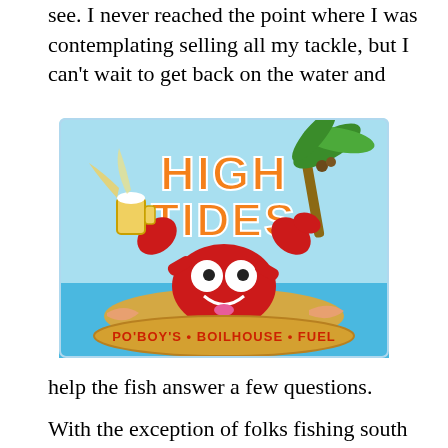see. I never reached the point where I was contemplating selling all my tackle, but I can't wait to get back on the water and
[Figure (logo): High Tides restaurant logo featuring a cartoon lobster/crab holding a beer mug, with palm tree, text 'HIGH TIDES' in orange block letters, and tagline 'PO'BOY'S • BOILHOUSE • FUEL' on an oval banner, set against a beach/ocean background.]
help the fish answer a few questions.
With the exception of folks fishing south of the Causeway and beach fronts, a large percentage of